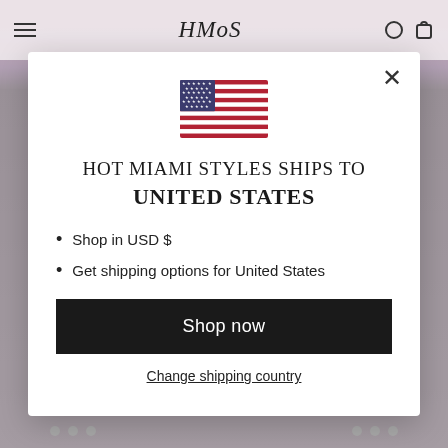[Figure (screenshot): Website background showing a fashion retail site (Hot Miami Styles) with navigation bar, hamburger menu, logo in script font, search and bag icons, partially visible product images, and carousel dots at bottom. A modal dialog overlays the page.]
[Figure (illustration): United States flag emoji/icon centered in modal]
HOT MIAMI STYLES SHIPS TO UNITED STATES
Shop in USD $
Get shipping options for United States
Shop now
Change shipping country